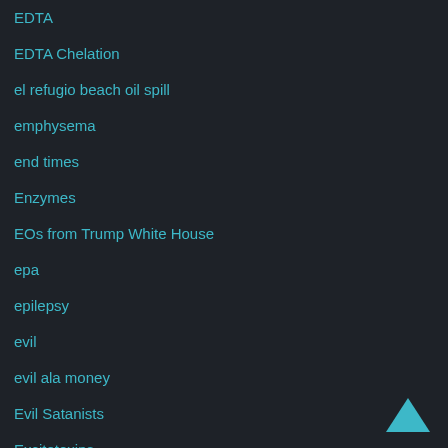EDTA
EDTA Chelation
el refugio beach oil spill
emphysema
end times
Enzymes
EOs from Trump White House
epa
epilepsy
evil
evil ala money
Evil Satanists
Excitotoxins
Exemption Forms for Various States
extreme surveillance to target Rawesome Foods